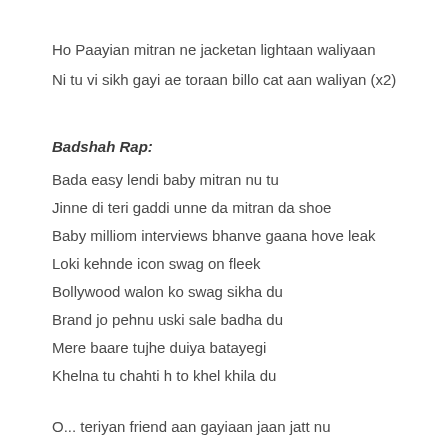Ho Paayian mitran ne jacketan lightaan waliyaan
Ni tu vi sikh gayi ae toraan billo cat aan waliyan (x2)
Badshah Rap:
Bada easy lendi baby mitran nu tu
Jinne di teri gaddi unne da mitran da shoe
Baby milliom interviews bhanve gaana hove leak
Loki kehnde icon swag on fleek
Bollywood walon ko swag sikha du
Brand jo pehnu uski sale badha du
Mere baare tujhe duiya batayegi
Khelna tu chahti h to khel khila du
O... teriyan friend aan gayiaan jaan jatt nu